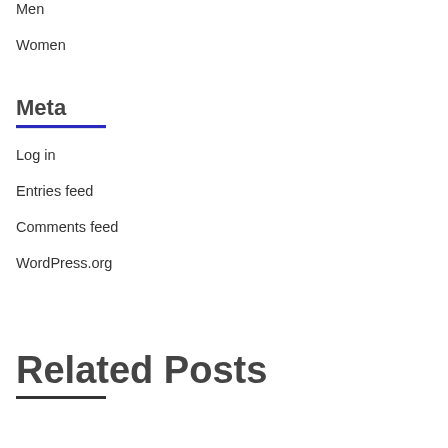Men
Women
Meta
Log in
Entries feed
Comments feed
WordPress.org
Related Posts